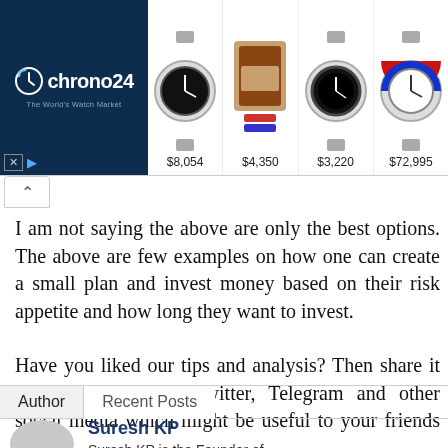[Figure (screenshot): Chrono24 advertisement banner showing watch marketplace logo and four watch images with prices: $8,054, $4,350, $3,220, $72,995]
I am not saying the above are only the best options. The above are few examples on how one can create a small plan and invest money based on their risk appetite and how long they want to invest.
Have you liked our tips and analysis? Then share it on your Facebook, Twitter, Telegram and other social media which might be useful to your friends too.
Author   Recent Posts
Suresh KP
Suresh KP is the Founder of